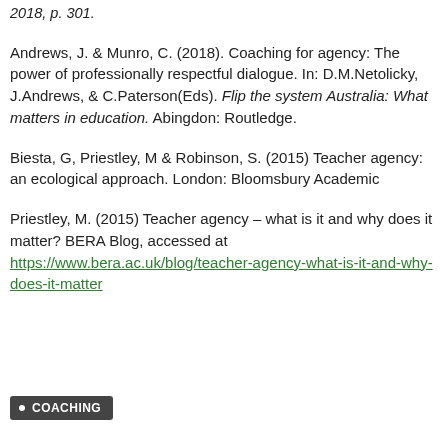2018, p. 301.
Andrews, J. & Munro, C. (2018). Coaching for agency: The power of professionally respectful dialogue. In: D.M.Netolicky, J.Andrews, & C.Paterson(Eds). Flip the system Australia: What matters in education. Abingdon: Routledge.
Biesta, G, Priestley, M & Robinson, S. (2015) Teacher agency: an ecological approach. London: Bloomsbury Academic
Priestley, M. (2015) Teacher agency – what is it and why does it matter? BERA Blog, accessed at https://www.bera.ac.uk/blog/teacher-agency-what-is-it-and-why-does-it-matter
COACHING